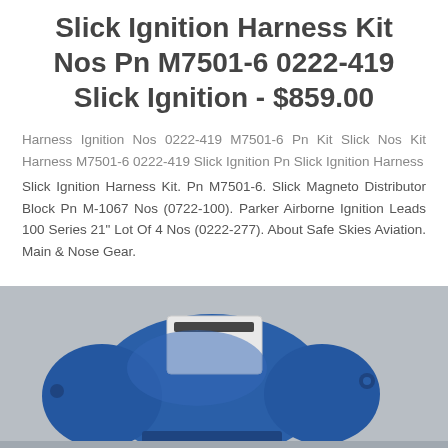Slick Ignition Harness Kit Nos Pn M7501-6 0222-419 Slick Ignition - $859.00
Harness Ignition Nos 0222-419 M7501-6 Pn Kit Slick Nos Kit Harness M7501-6 0222-419 Slick Ignition Pn Slick Ignition Harness
Slick Ignition Harness Kit. Pn M7501-6. Slick Magneto Distributor Block Pn M-1067 Nos (0722-100). Parker Airborne Ignition Leads 100 Series 21" Lot Of 4 Nos (0222-277). About Safe Skies Aviation. Main & Nose Gear.
[Figure (photo): Photo of a blue aircraft magneto/ignition component with a white rectangular connector block on top, set against a light gray background.]